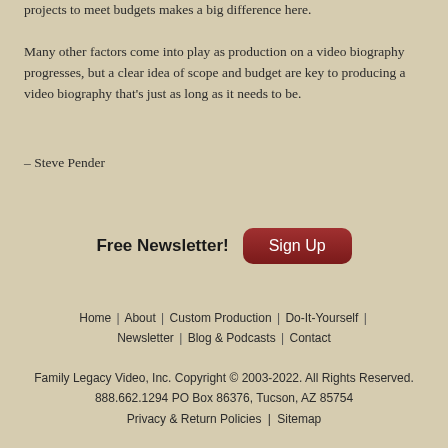projects to meet budgets makes a big difference here.

Many other factors come into play as production on a video biography progresses, but a clear idea of scope and budget are key to producing a video biography that's just as long as it needs to be.
– Steve Pender
Free Newsletter!  Sign Up
Home | About | Custom Production | Do-It-Yourself | Newsletter | Blog & Podcasts | Contact
Family Legacy Video, Inc. Copyright © 2003-2022. All Rights Reserved. 888.662.1294 PO Box 86376, Tucson, AZ 85754 Privacy & Return Policies | Sitemap